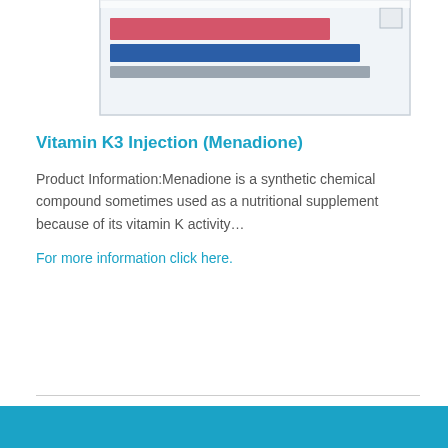[Figure (photo): Partial view of a Vitamin K3 Injection (Menadione) product box with blue, pink, and grey colors visible at the top of the page]
Vitamin K3 Injection (Menadione)
Product Information:Menadione is a synthetic chemical compound sometimes used as a nutritional supplement because of its vitamin K activity…
For more information click here.